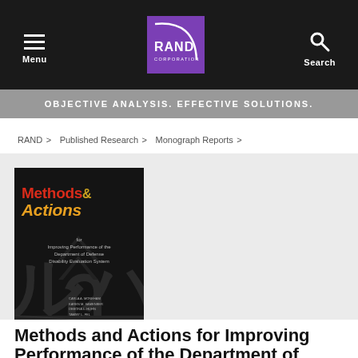Menu | RAND Corporation | Search
OBJECTIVE ANALYSIS. EFFECTIVE SOLUTIONS.
RAND > Published Research > Monograph Reports >
[Figure (illustration): Book cover of 'Methods & Actions for Improving Performance of the Department of Defense Disability Evaluation System', RAND Corporation monograph report, dark background with orange and red title text]
Methods and Actions for Improving Performance of the Department of